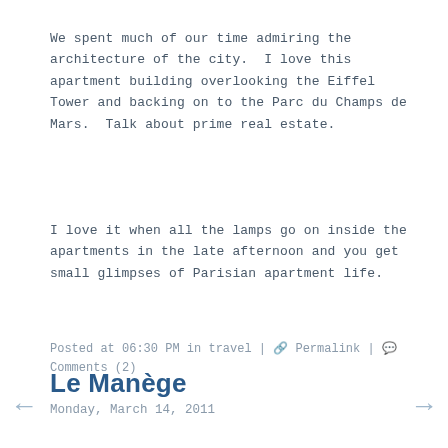We spent much of our time admiring the architecture of the city.  I love this apartment building overlooking the Eiffel Tower and backing on to the Parc du Champs de Mars.  Talk about prime real estate.
I love it when all the lamps go on inside the apartments in the late afternoon and you get small glimpses of Parisian apartment life.
Posted at 06:30 PM in travel | 🔗 Permalink | 💬 Comments (2)
Le Manège
Monday, March 14, 2011